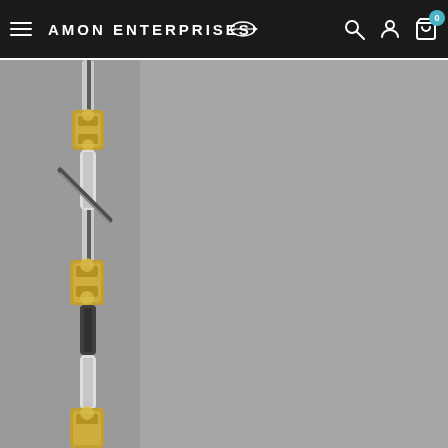AMON ENTERPRISES - Navigation bar with hamburger menu, logo, search, account, and cart icons
[Figure (photo): Close-up product photo of a cable or antenna component with gold and silver metallic fittings on a grey background, shown vertically on the left side of the frame]